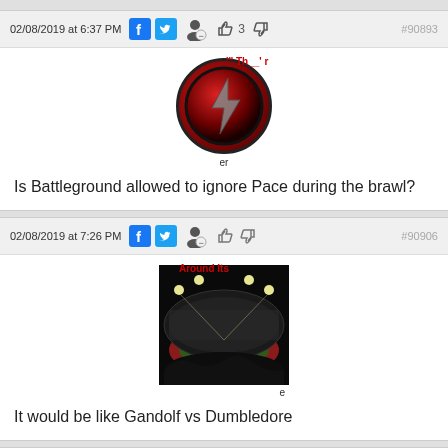02/08/2019 at 6:37 PM  👍 3  #90893
[Figure (photo): User avatar: red circular logo with lightning bolt symbol]
Is Battleground allowed to ignore Pace during the brawl?
02/08/2019 at 7:26 PM  #90906
[Figure (photo): Stadium photo showing football field with lights and crowd]
It would be like Gandolf vs Dumbledore
02/08/2019 at 7:34 PM  👍 1  #90907